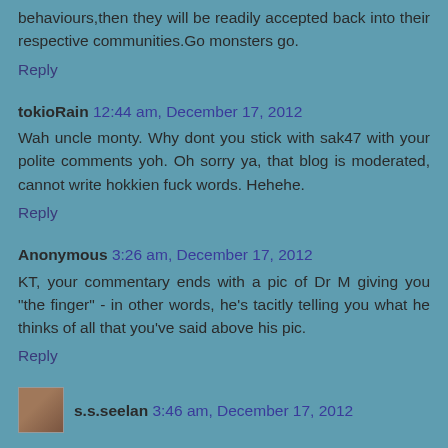behaviours,then they will be readily accepted back into their respective communities.Go monsters go.
Reply
tokioRain 12:44 am, December 17, 2012
Wah uncle monty. Why dont you stick with sak47 with your polite comments yoh. Oh sorry ya, that blog is moderated, cannot write hokkien fuck words. Hehehe.
Reply
Anonymous 3:26 am, December 17, 2012
KT, your commentary ends with a pic of Dr M giving you "the finger" - in other words, he's tacitly telling you what he thinks of all that you've said above his pic.
Reply
s.s.seelan 3:46 am, December 17, 2012